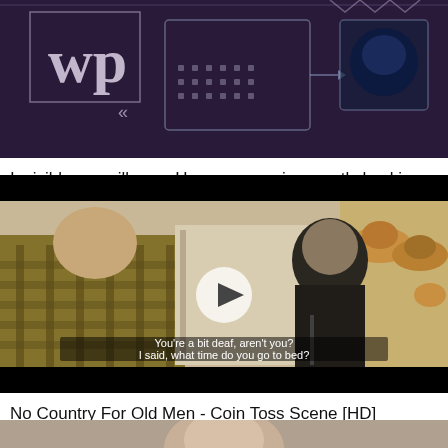[Figure (screenshot): Thumbnail image showing surveillance/spyware interface with Washington Post logo (wp) and tech imagery on dark background]
Invisible surveillance: How spyware is secretly hacking smartphones
[Figure (screenshot): Video thumbnail from No Country For Old Men - Coin Toss Scene showing two men in a store with subtitle text: You're a bit deaf, aren't you? I said, what time do you go to bed? A play button is overlaid in the center.]
No Country For Old Men - Coin Toss Scene [HD]
[Figure (photo): Partial thumbnail of another video, only partially visible at bottom of page]